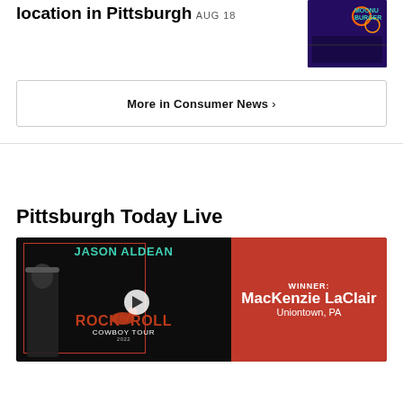location in Pittsburgh
AUG 18
[Figure (photo): Moonburger restaurant interior with neon lighting and purple/blue ambiance]
More in Consumer News ›
Pittsburgh Today Live
[Figure (photo): Jason Aldean Rock N Roll Cowboy Tour promotional image with winner MacKenzie LaClair from Uniontown, PA]